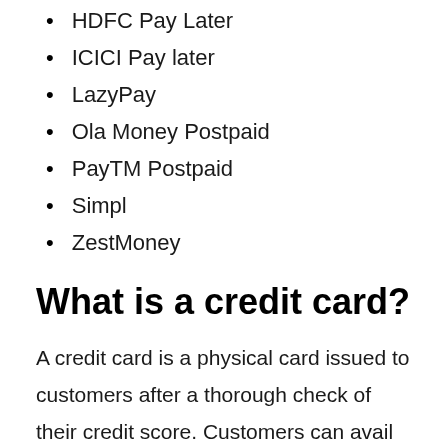HDFC Pay Later
ICICI Pay later
LazyPay
Ola Money Postpaid
PayTM Postpaid
Simpl
ZestMoney
What is a credit card?
A credit card is a physical card issued to customers after a thorough check of their credit score. Customers can avail of credit on a certain amount of money from a bank or other financial institution using a credit card. However, the card issuer needs assurance that the customer will repay the amount in the said period. Failure towards the